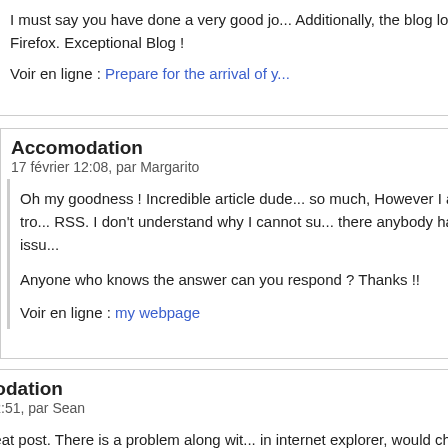I must say you have done a very good jo... Additionally, the blog loads extremely fas... Firefox. Exceptional Blog !
Voir en ligne : Prepare for the arrival of y...
Répondre
Accomodation
17 février 12:08, par Margarito
Oh my goodness ! Incredible article dude... so much, However I am encountering tro... RSS. I don't understand why I cannot su... there anybody having identical RSS issu...
Anyone who knows the answer can you respond ? Thanks !!
Voir en ligne : my webpage
Répondre
Accomodation
2 février 12:51, par Sean
Hello, Neat post. There is a problem along wit... in internet explorer, would check this ? IE still i... leader and a big component of folks will omit...